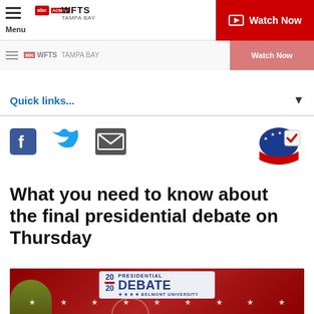Menu | WFTS TAMPA BAY | Watch Now
Quick links...
[Figure (other): Social media share icons: Facebook, Twitter, Email, and a Vote badge]
What you need to know about the final presidential debate on Thursday
[Figure (photo): Photo of a building exterior with a 2020 Presidential Debate - Belmont University banner displayed. Red banner with white stars decorates the building.]